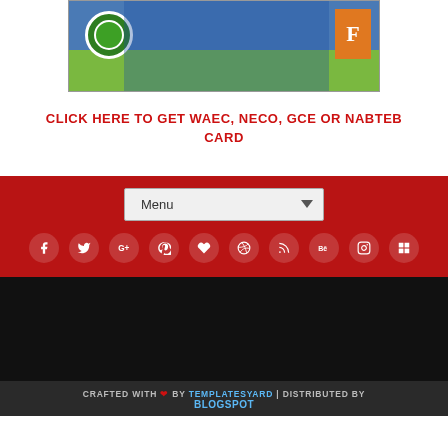[Figure (photo): Group photo of students/people in blue uniforms with a green circular badge/logo on the left, holding certificates, with a large orange F letter on the right side]
CLICK HERE TO GET WAEC, NECO, GCE OR NABTEB CARD
[Figure (screenshot): Red navigation bar with a dropdown menu labeled 'Menu' and a row of social media icons (Facebook, Twitter, Google+, Pinterest, Heart/Bloglovin, Dribbble, RSS, Behance, Instagram, Delicious)]
[Figure (other): Black rectangular area (advertisement or widget placeholder)]
CRAFTED WITH ❤ BY TEMPLATESYARD | DISTRIBUTED BY BLOGSPOT